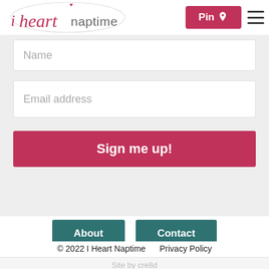[Figure (logo): i heart naptime logo with cursive red text and circle decoration]
Pin
Name
Email address
Sign me up!
About
Contact
© 2022 I Heart Naptime     Privacy Policy
Site by cre8d